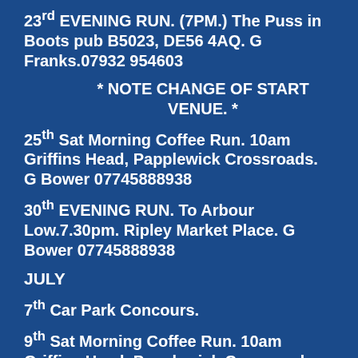23rd EVENING RUN. (7PM.) The Puss in Boots pub B5023, DE56 4AQ. G Franks.07932 954603
* NOTE CHANGE OF START VENUE. *
25th Sat Morning Coffee Run. 10am Griffins Head, Papplewick Crossroads. G Bower 07745888938
30th EVENING RUN. To Arbour Low.7.30pm. Ripley Market Place. G Bower 07745888938
JULY
7th Car Park Concours.
9th Sat Morning Coffee Run. 10am Griffins Head, Papplewick Crossroads. G Bower 07745888938
21st EVENING RUN. 7.30pm Ripley Market